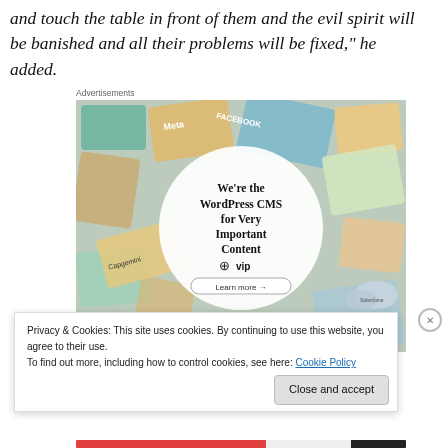and touch the table in front of them and the evil spirit will be banished and all their problems will be fixed," he added.
[Figure (other): Advertisement for WordPress VIP CMS. Shows a white circle with text 'We're the WordPress CMS for Very Important Content' with WP vip logo and 'Learn more' button, surrounded by colorful cards and brand logos including Meta, Facebook, Capgemini, Salesforce.]
Privacy & Cookies: This site uses cookies. By continuing to use this website, you agree to their use.
To find out more, including how to control cookies, see here: Cookie Policy